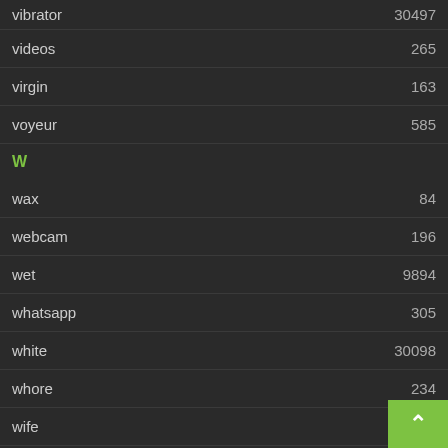vibrator  30497
videos  265
virgin  163
voyeur  585
W
wax  84
webcam  196
wet  9894
whatsapp  305
white  30098
whore  234
wife  91
Y
yoga  1003
young  71218
Z